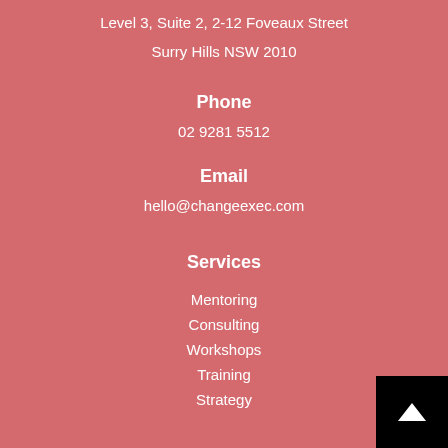Level 3, Suite 2, 2-12 Foveaux Street
Surry Hills NSW 2010
Phone
02 9281 5512
Email
hello@changeexec.com
Services
Mentoring
Consulting
Workshops
Training
Strategy